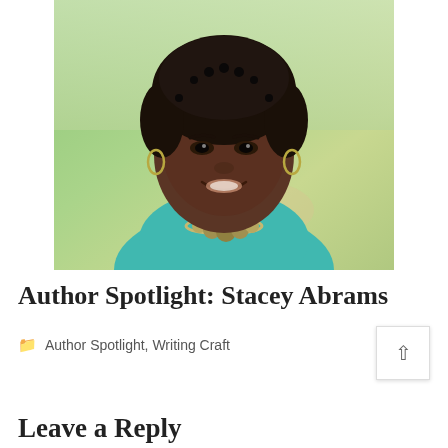[Figure (photo): Portrait photo of Stacey Abrams, a Black woman with short natural hair, wearing a teal/turquoise top and a silver coin necklace, smiling, outdoors with green foliage background]
Author Spotlight: Stacey Abrams
Author Spotlight, Writing Craft
Leave a Reply